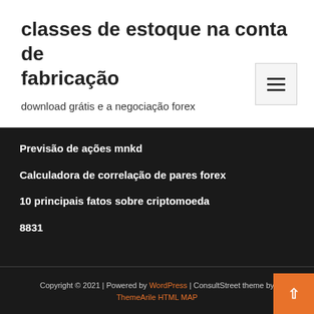classes de estoque na conta de fabricação
download grátis e a negociação forex
Previsão de ações mnkd
Calculadora de correlação de pares forex
10 principais fatos sobre criptomoeda
8831
Copyright © 2021 | Powered by WordPress | ConsultStreet theme by ThemeArile HTML MAP